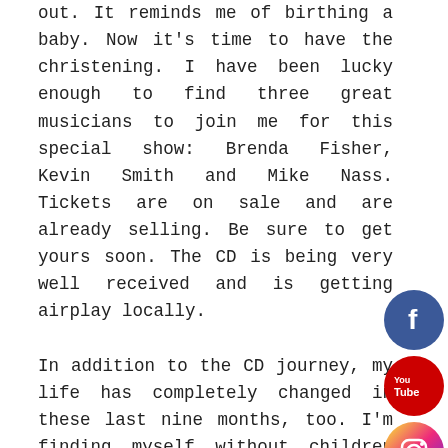out.  It reminds me of birthing a baby.  Now it's time to have the christening.  I have been lucky enough to find three great musicians to join me for this special show:  Brenda Fisher, Kevin Smith and Mike Nass.  Tickets are on sale and are already selling.  Be sure to get yours soon.  The CD is being very well received and is getting airplay locally.

In addition to the CD journey, my life has completely changed in these last nine months, too.  I'm finding myself without children in my home for the first time in 40 years.  People have asked me if I miss it.  Without hesitation, I always reply "no."  I can sleep when I want and eat when
[Figure (infographic): Four social media icon circles: Facebook (blue), YouTube (red), Instagram (pink/magenta), LinkedIn (blue)]